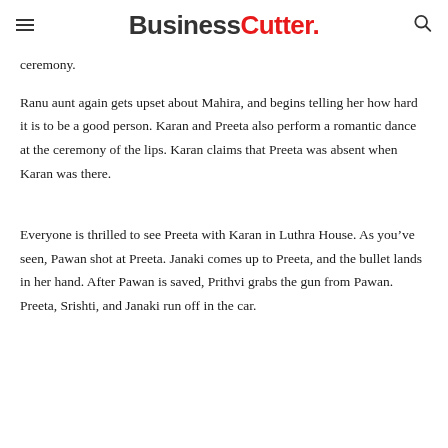BusinessCutter.
ceremony.
Ranu aunt again gets upset about Mahira, and begins telling her how hard it is to be a good person. Karan and Preeta also perform a romantic dance at the ceremony of the lips. Karan claims that Preeta was absent when Karan was there.
Everyone is thrilled to see Preeta with Karan in Luthra House. As you’ve seen, Pawan shot at Preeta. Janaki comes up to Preeta, and the bullet lands in her hand. After Pawan is saved, Prithvi grabs the gun from Pawan. Preeta, Srishti, and Janaki run off in the car.